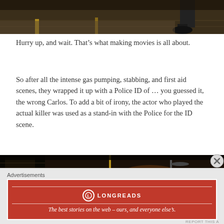[Figure (photo): Dark photo showing a person standing on a concrete floor, legs and shoes visible, with yellow lines on the floor]
Hurry up, and wait. That’s what making movies is all about.
So after all the intense gas pumping, stabbing, and first aid scenes, they wrapped it up with a Police ID of … you guessed it, the wrong Carlos. To add a bit of irony, the actor who played the actual killer was used as a stand-in with the Police for the ID scene.
[Figure (photo): Dark nighttime photo showing a street or parking area with a pole/stand visible and dim orange lighting]
Advertisements
[Figure (other): Longreads advertisement banner: red background with Longreads logo and tagline 'The best stories on the web – ours, and everyone else’s.']